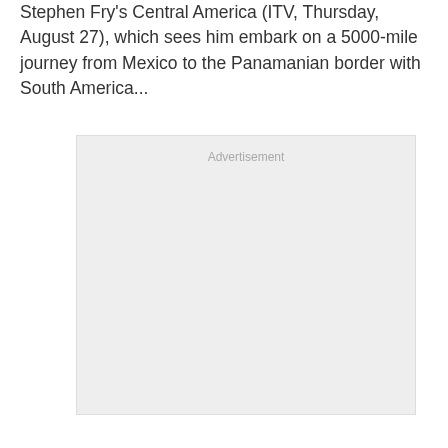Stephen Fry's Central America (ITV, Thursday, August 27), which sees him embark on a 5000-mile journey from Mexico to the Panamanian border with South America...
[Figure (other): Advertisement placeholder box with light grey background and 'Advertisement' label at the top center]